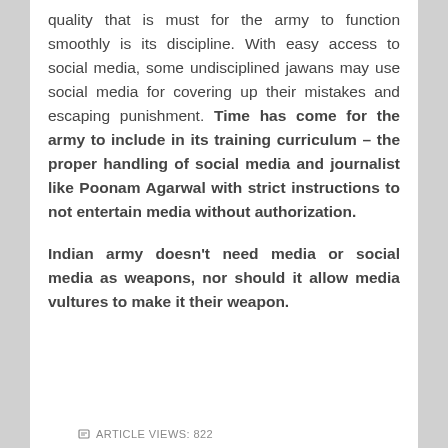quality that is must for the army to function smoothly is its discipline. With easy access to social media, some undisciplined jawans may use social media for covering up their mistakes and escaping punishment. Time has come for the army to include in its training curriculum – the proper handling of social media and journalist like Poonam Agarwal with strict instructions to not entertain media without authorization.
Indian army doesn't need media or social media as weapons, nor should it allow media vultures to make it their weapon.
ARTICLE VIEWS: 822